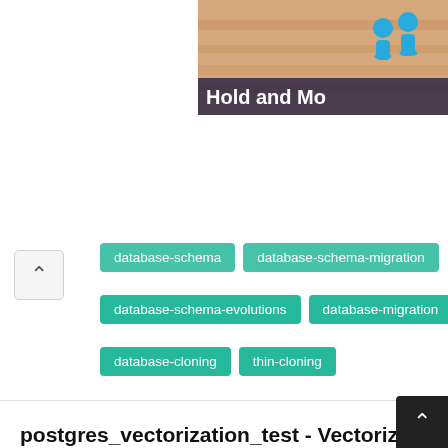[Figure (illustration): Top-right banner with sandy/orange background and 'Hold and Mo' text overlay with figures icon]
database-schema
database-schema-migration
database-schema-evolutions
database-migration
database-cloning
thin-cloning
postgres_vectorization_test - Vectorized executor to speed up PostgreSQL
★★ C
I interned at Citus Data this summer, and implemented a vectorized executor for PostgreSQL. We observed performance improvements of 3-4x for simple SELECT queries with vectorized execution, and decided to open source my project as a proof of concept. This readme